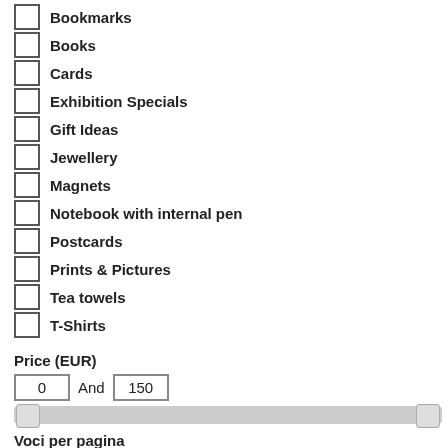Bookmarks
Books
Cards
Exhibition Specials
Gift Ideas
Jewellery
Magnets
Notebook with internal pen
Postcards
Prints & Pictures
Tea towels
T-Shirts
Price (EUR)
0 And 150
Voci per pagina
12